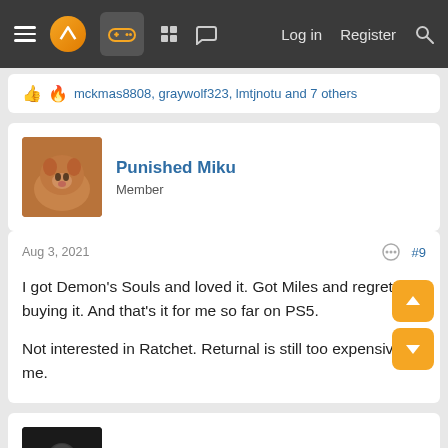Navigation bar with menu, logo, game icon, forum icons, Log in, Register, Search
mckmas8808, graywolf323, lmtjnotu and 7 others
Punished Miku
Member
Aug 3, 2021  #9
I got Demon's Souls and loved it. Got Miles and regretted buying it. And that's it for me so far on PS5.

Not interested in Ratchet. Returnal is still too expensive for me.
TheGodfather07
Member